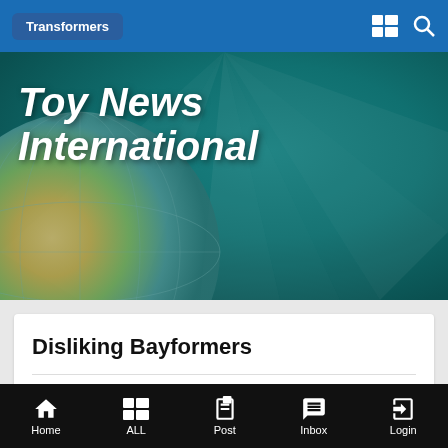Transformers
[Figure (illustration): Toy News International banner with globe illustration and teal/blue ray background]
Disliking Bayformers
By Nguyen_Dragon,
May 18, 2011 in Transformers
Reply to this topic
Home | ALL | Post | Inbox | Login